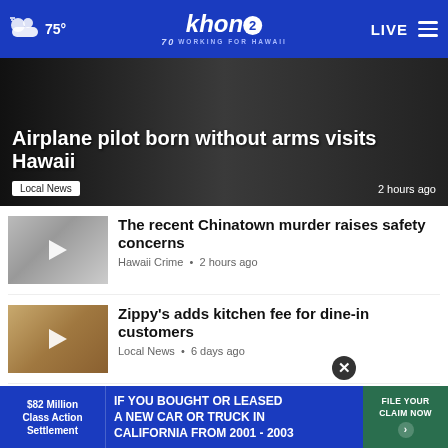khon2 WORKING FOR HAWAII | 75° | LIVE
Airplane pilot born without arms visits Hawaii
Local News • 2 hours ago
The recent Chinatown murder raises safety concerns
Hawaii Crime • 2 hours ago
Zippy's adds kitchen fee for dine-in customers
Local News • 6 days ago
Axis deer threatening Maui's natural resources
Local News • 1 day ago
Victim hit with metal stake Maui,
$82 Million Class Action Settlement | IF YOU BOUGHT OR LEASED A NEW CAR OR TRUCK IN CALIFORNIA FROM 2001 - 2003 | FILE YOUR CLAIM NOW